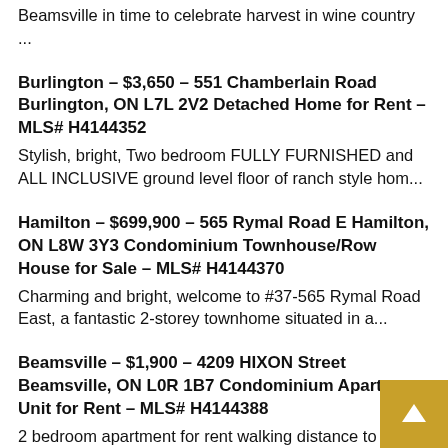Beamsville in time to celebrate harvest in wine country ...
Burlington - $3,650 - 551 Chamberlain Road Burlington, ON L7L 2V2 Detached Home for Rent - MLS# H4144352
Stylish, bright, Two bedroom FULLY FURNISHED and ALL INCLUSIVE ground level floor of ranch style hom...
Hamilton - $699,900 - 565 Rymal Road E Hamilton, ON L8W 3Y3 Condominium Townhouse/Row House for Sale - MLS# H4144370
Charming and bright, welcome to #37-565 Rymal Road East, a fantastic 2-storey townhome situated in a...
Beamsville - $1,900 - 4209 HIXON Street Beamsville, ON L0R 1B7 Condominium Apartment Unit for Rent - MLS# H4144388
2 bedroom apartment for rent walking distance to